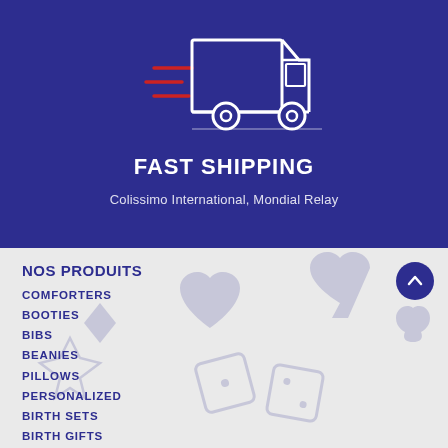[Figure (illustration): White outline illustration of a delivery truck with red speed lines on a dark blue background]
FAST SHIPPING
Colissimo International, Mondial Relay
NOS PRODUITS
COMFORTERS
BOOTIES
BIBS
BEANIES
PILLOWS
PERSONALIZED
BIRTH SETS
BIRTH GIFTS